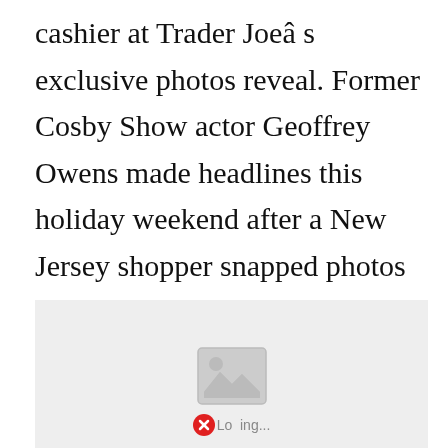cashier at Trader Joeâ s exclusive photos reveal. Former Cosby Show actor Geoffrey Owens made headlines this holiday weekend after a New Jersey shopper snapped photos of him bagging groceries at a Trader Joe checkout line then provided them.
[Figure (photo): Image placeholder with loading error indicator (broken image icon with red X button and 'Loading...' text) on a light grey background]